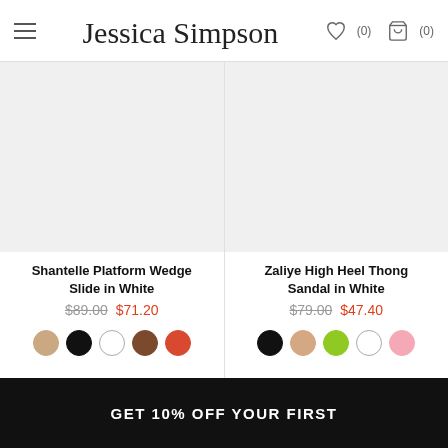Jessica Simpson | (0) | (0)
[Figure (photo): Product image placeholder for Shantelle Platform Wedge Slide in White (light gray rectangle)]
Shantelle Platform Wedge Slide in White
$89.00  $71.20
[Figure (photo): Color swatches: tan, black, white, brown, red-orange]
[Figure (photo): Product image placeholder for Zaliye High Heel Thong Sandal in White (light gray rectangle)]
Zaliye High Heel Thong Sandal in White
$79.00  $47.40
[Figure (photo): Color swatches: black, nude/tan, lime green, white, pink]
GET 10% OFF YOUR FIRST